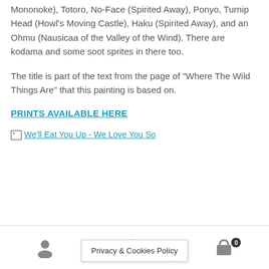Mononoke), Totoro, No-Face (Spirited Away), Ponyo, Turnip Head (Howl's Moving Castle), Haku (Spirited Away), and an Ohmu (Nausicaa of the Valley of the Wind). There are kodama and some soot sprites in there too.
The title is part of the text from the page of “Where The Wild Things Are” that this painting is based on.
PRINTS AVAILABLE HERE
[Figure (photo): Broken image placeholder with link text: We'll Eat You Up - We Love You So]
Privacy & Cookies Policy